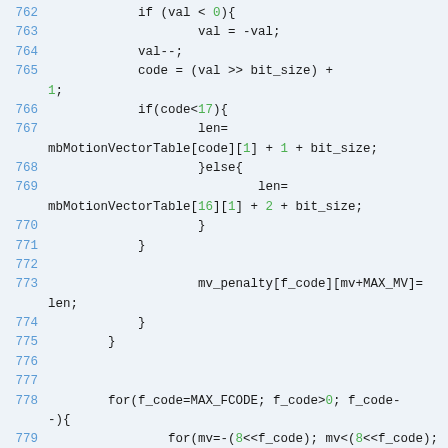[Figure (screenshot): Source code listing showing C code lines 762-780 with syntax highlighting. Line numbers in blue, numeric literals in green, rest of code in dark/black text on light blue-grey background.]